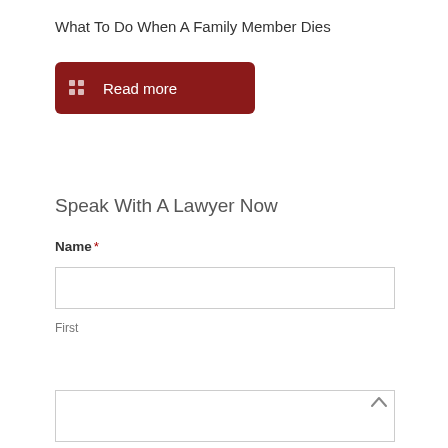What To Do When A Family Member Dies
[Figure (other): Red button with grid icon and 'Read more' text]
Speak With A Lawyer Now
Name *
[Figure (other): Text input field (empty)]
First
[Figure (other): Second text input field (empty) with scroll-up arrow indicator]